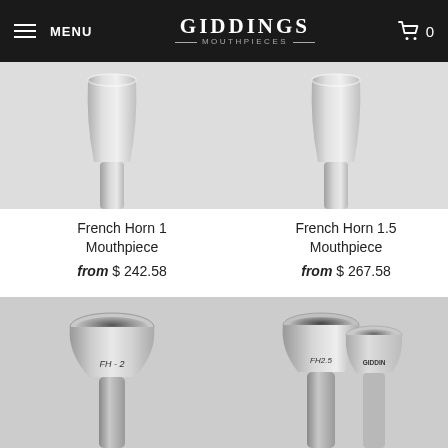MENU | GIDDINGS MOUTHPIECES | 0
[Figure (photo): French Horn 1 Mouthpiece - silver mouthpiece shank viewed from top, light gray background]
[Figure (photo): French Horn 1.5 Mouthpiece - silver mouthpiece shank viewed from top, light gray background]
French Horn 1 Mouthpiece
from $ 242.58
French Horn 1.5 Mouthpiece
from $ 267.58
[Figure (photo): French Horn 2 Mouthpiece labeled FH-2 - silver mouthpiece with cup opening, viewed from slight angle]
[Figure (photo): French Horn 2.5 Mouthpiece labeled FH2.5 - two silver mouthpieces side by side, one labeled GIDDINGS]